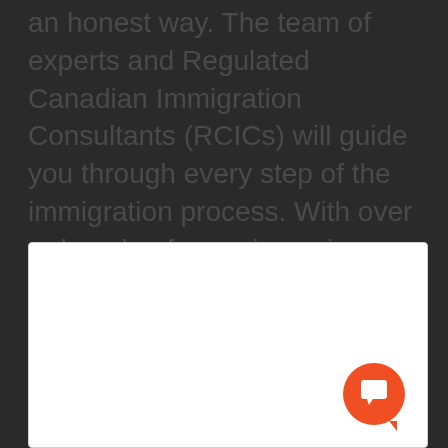an honest way. The team of experts and Regulated Canadian Immigration Consultants (RCICs) will guide you through every step of the immigration process. With over a decade of experience in helping people with the right pathway to Canada, ImmigCanada is touted as one of the leading immigration consultancies.
[Figure (other): A white rectangular box with a rounded corner border, likely a form or embedded content area. An orange circular chat button with a speech bubble icon is in the bottom-right corner of the box.]